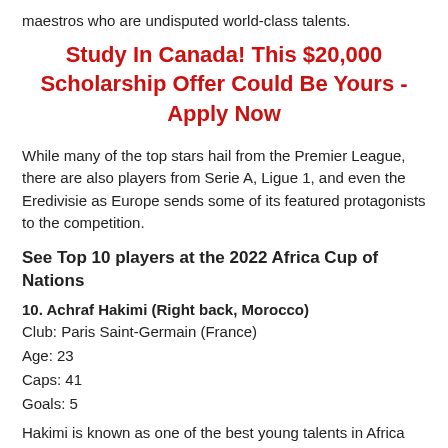maestros who are undisputed world-class talents.
Study In Canada! This $20,000 Scholarship Offer Could Be Yours - Apply Now
While many of the top stars hail from the Premier League, there are also players from Serie A, Ligue 1, and even the Eredivisie as Europe sends some of its featured protagonists to the competition.
See Top 10 players at the 2022 Africa Cup of Nations
10. Achraf Hakimi (Right back, Morocco)
Club: Paris Saint-Germain (France)
Age: 23
Caps: 41
Goals: 5
Hakimi is known as one of the best young talents in Africa from...